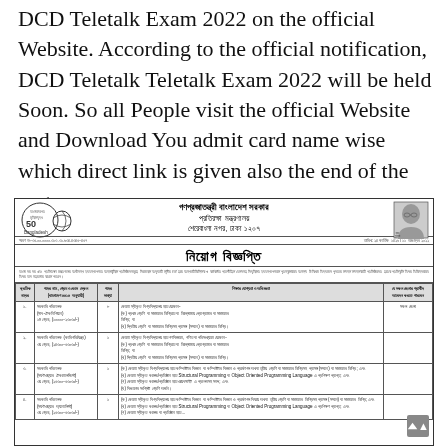DCD Teletalk Exam 2022 on the official Website. According to the official notification, DCD Teletalk Teletalk Exam 2022 will be held Soon. So all People visit the official Website and Download You admit card name wise which direct link is given also the end of the page.
[Figure (other): Official Bangladesh government recruitment notice (নিয়োগ বিজ্ঞপ্তি) from the Ministry of Defence (প্রতিরক্ষা মন্ত্রণালয়), Sher-e-Bangla Nagar, Dhaka 1207. Contains a table listing government job positions with Bengali text detailing post names, pay grades, vacancies, educational qualifications, and eligible districts.]